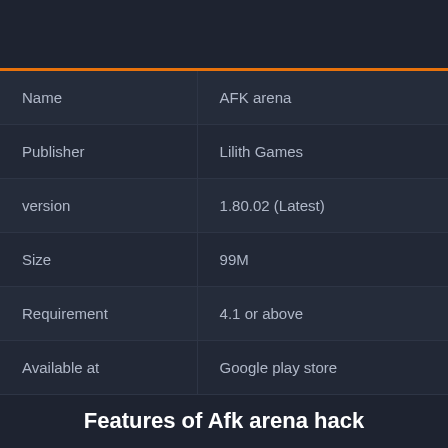| Name | AFK arena |
| --- | --- |
| Name | AFK arena |
| Publisher | Lilith Games |
| version | 1.80.02 (Latest) |
| Size | 99M |
| Requirement | 4.1 or above |
| Available at | Google play store |
Features of Afk arena hack